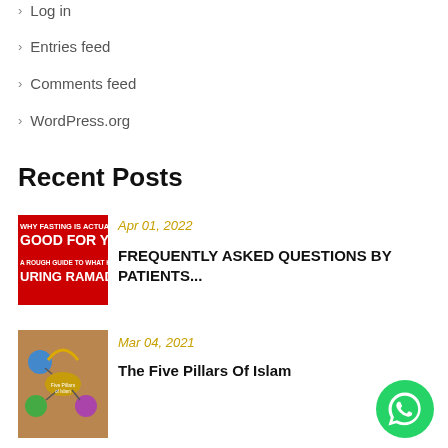Log in
Entries feed
Comments feed
WordPress.org
Recent Posts
[Figure (photo): Red banner image with text 'WHY FASTING IS ACTUALLY GOOD FOR YOU' and 'DURING RAMADAN']
Apr 01, 2022
FREQUENTLY ASKED QUESTIONS BY PATIENTS...
[Figure (illustration): Five Pillars of Islam infographic diagram with colored circles on a brown background]
Mar 04, 2021
The Five Pillars Of Islam